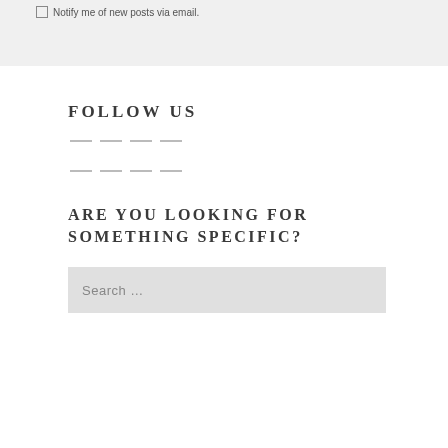Notify me of new posts via email.
FOLLOW US
ARE YOU LOOKING FOR SOMETHING SPECIFIC?
Search ...